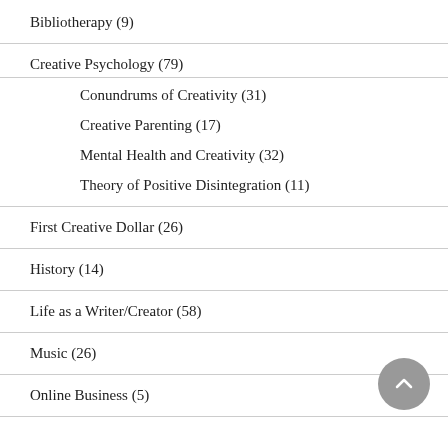Bibliotherapy (9)
Creative Psychology (79)
Conundrums of Creativity (31)
Creative Parenting (17)
Mental Health and Creativity (32)
Theory of Positive Disintegration (11)
First Creative Dollar (26)
History (14)
Life as a Writer/Creator (58)
Music (26)
Online Business (5)